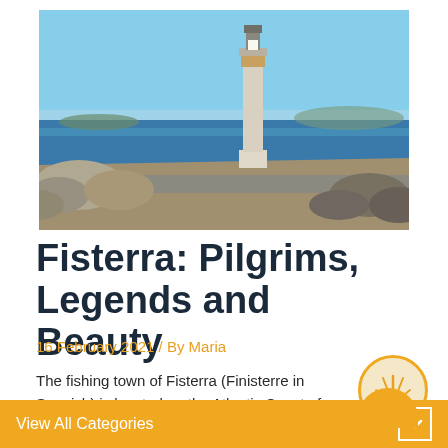[Figure (photo): Lighthouse on rocky Atlantic coast with blue sky and ocean in background. Rocky terrain and stone wall in foreground.]
Fisterra: Pilgrims, Legends and Beauty
16 February 2021 / By Maria
The fishing town of Fisterra (Finisterre in Spanish) is located on the Atlantic Coast of
View All Categories